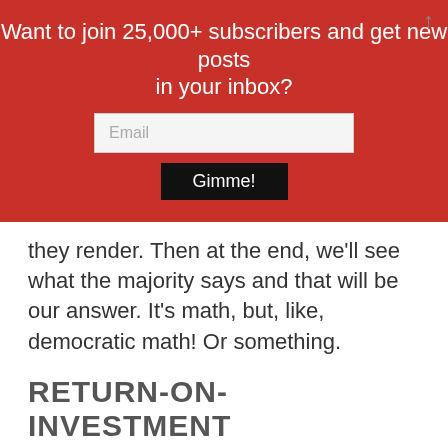Want to join 25,000+ subscribers and get new posts in your inbox?
they render. Then at the end, we'll see what the majority says and that will be our answer. It's math, but, like, democratic math! Or something.
RETURN-ON-INVESTMENT
Recall that in a previous reader case we talked about ROI as a measure of a property's performance as an investment. This is typically done for investment